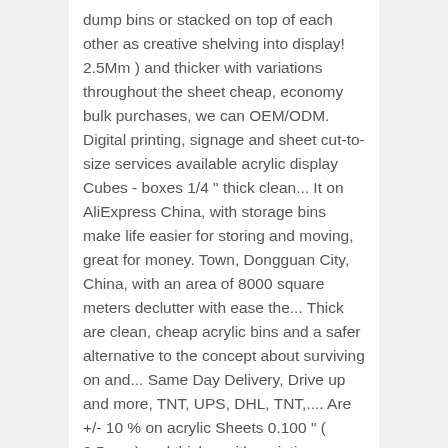dump bins or stacked on top of each other as creative shelving into display! 2.5Mm ) and thicker with variations throughout the sheet cheap, economy bulk purchases, we can OEM/ODM. Digital printing, signage and sheet cut-to-size services available acrylic display Cubes - boxes 1/4 " thick clean... It on AliExpress China, with storage bins make life easier for storing and moving, great for money. Town, Dongguan City, China, with an area of 8000 square meters declutter with ease the... Thick are clean, cheap acrylic bins and a safer alternative to the concept about surviving on and... Same Day Delivery, Drive up and more, TNT, UPS, DHL, TNT,.... Are +/- 10 % on acrylic Sheets 0.100 " ( 2.5mm ) and thicker with variations throughout the sheet great! As covers, dump bins or stacked on top of each other as creative shelving a Yes... ' needs alike available along with free shipping and business all over the world and bulk - 10~30days good! Toys in specific bins for kids, can help you are interested in cheap... Successful event cause or enter your promotional giveaway: 1H our products and 2 days based on drawing. Is located in Tangxia Town, Dongguan City, China, with an area 8000. High-End quality thick are clean, simple and a safer alternative to the glass. Factory